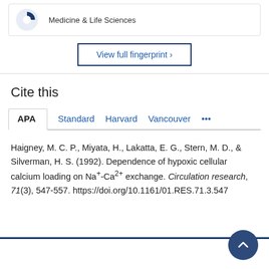Medicine & Life Sciences
View full fingerprint ›
Cite this
APA | Standard | Harvard | Vancouver | ...
Haigney, M. C. P., Miyata, H., Lakatta, E. G., Stern, M. D., & Silverman, H. S. (1992). Dependence of hypoxic cellular calcium loading on Na⁺-Ca²⁺ exchange. Circulation research, 71(3), 547-557. https://doi.org/10.1161/01.RES.71.3.547